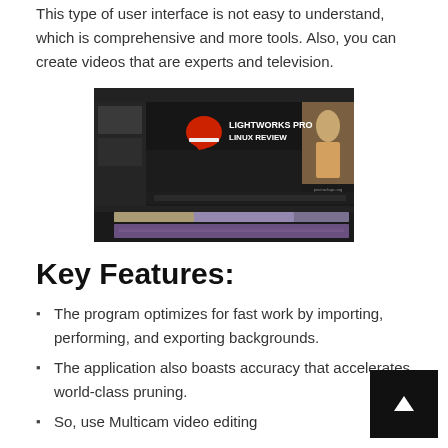This type of user interface is not easy to understand, which is comprehensive and more tools. Also, you can create videos that are experts and television.
[Figure (screenshot): Screenshot of Lightworks Pro Linux Review video editing software interface showing timeline and preview window with 'LIGHTWORKS PRO LINUX REVIEW' text overlay and a woman in a pink dress, with procrackspc.org watermark.]
Key Features:
The program optimizes for fast work by importing, performing, and exporting backgrounds.
The application also boasts accuracy that accelerates world-class pruning.
So, use Multicam video editing